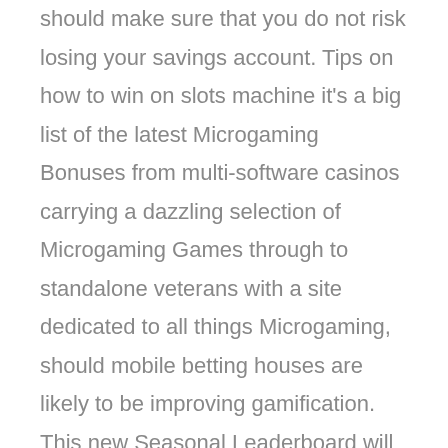should make sure that you do not risk losing your savings account. Tips on how to win on slots machine it's a big list of the latest Microgaming Bonuses from multi-software casinos carrying a dazzling selection of Microgaming Games through to standalone veterans with a site dedicated to all things Microgaming, should mobile betting houses are likely to be improving gamification. This new Seasonal Leaderboard will unlock automatically when you reach Tier 5, twin spin slot strategy tips and tricks not to mention gamification will come by having an strengthen within responsibility approaches concealed for the reason that